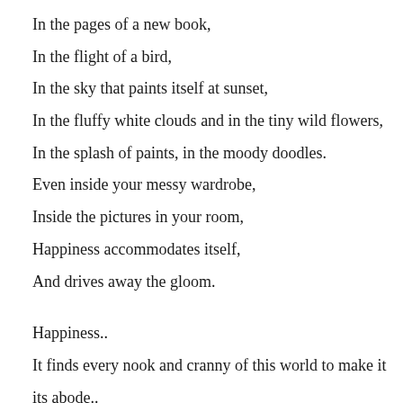In the pages of a new book,
In the flight of a bird,
In the sky that paints itself at sunset,
In the fluffy white clouds and in the tiny wild flowers,
In the splash of paints, in the moody doodles.
Even inside your messy wardrobe,
Inside the pictures in your room,
Happiness accommodates itself,
And drives away the gloom.

Happiness..
It finds every nook and cranny of this world to make it its abode..
Happiness builds doors for us,
Doors that are meant to opened for discovering the